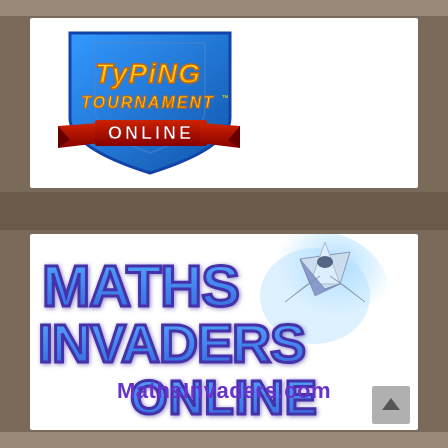[Figure (logo): Typing Tournament Online logo with blue shield, yellow stylized text 'Typing Tournament' and red ribbon banner with white text 'ONLINE']
[Figure (logo): Maths Invaders Online logo with large blue outlined bold text 'MATHS INVADERS ONLINE', a spaceship/jet illustration with blue glow effect in upper right]
MathsInvaders.com